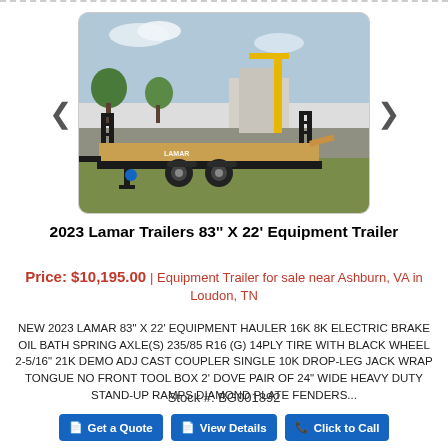[Figure (photo): Photo of a 2023 Lamar Trailers 83" X 22' Equipment Trailer parked outdoors on grass, with wooden deck and ramps visible, Lamar branding on the side.]
2023 Lamar Trailers 83'' X 22' Equipment Trailer
Price: $10,195.00 | Equipment Trailer for sale near Ashburn, VA in Loudon, TN
NEW 2023 LAMAR 83" X 22' EQUIPMENT HAULER 16K 8K ELECTRIC BRAKE OIL BATH SPRING AXLE(S) 235/85 R16 (G) 14PLY TIRE WITH BLACK WHEEL 2-5/16" 21K DEMO ADJ CAST COUPLER SINGLE 10K DROP-LEG JACK WRAP TONGUE NO FRONT TOOL BOX 2' DOVE PAIR OF 24" WIDE HEAVY DUTY STAND-UP RAMPS DIAMOND PLATE FENDERS...
Stock #: BG001892
Get a Quote
View Details
Click to Call